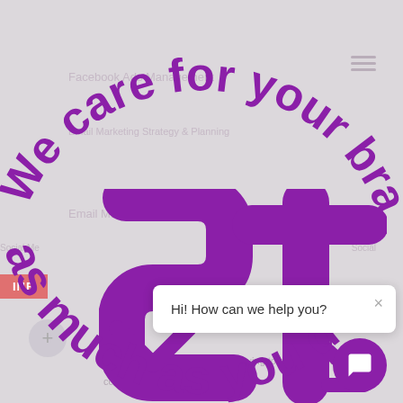[Figure (screenshot): Website screenshot showing a marketing agency page with curved purple text 'We care for your brand as much as you do', a purple abstract logo/icon in the center, a coral/red INR button on the left, faded navigation menu items in the background, a white chat popup saying 'Hi! How can we help you?' with a close X button, and a purple chat bubble icon in the bottom right corner.]